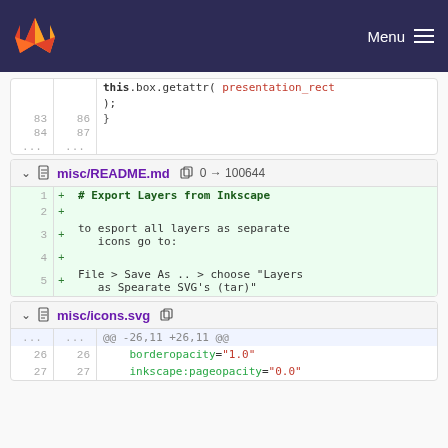GitLab navigation bar with Menu
this.box.getattr( presentation_rect
    );
| old | new | code |
| --- | --- | --- |
| 83 | 86 | } |
| 84 | 87 |  |
| ... | ... |  |
misc/README.md  0 → 100644
| line | + | code |
| --- | --- | --- |
| 1 | + | # Export Layers from Inkscape |
| 2 | + |  |
| 3 | + | to esport all layers as separate icons go to: |
| 4 | + |  |
| 5 | + | File > Save As .. > choose "Layers as Spearate SVG's (tar)" |
misc/icons.svg
| old | new | code |
| --- | --- | --- |
| ... | ... | @@ -26,11 +26,11 @@ |
| 26 | 26 | borderopacity="1.0" |
| 27 | 27 | inkscape:pageopacity="0.0" |